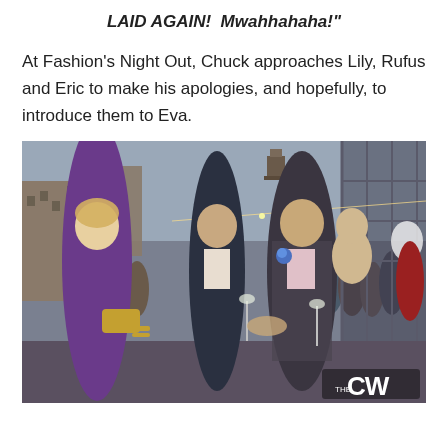LAID AGAIN!  Mwahhahaha!"
At Fashion's Night Out, Chuck approaches Lily, Rufus and Eric to make his apologies, and hopefully, to introduce them to Eva.
[Figure (photo): A scene from what appears to be a TV show (The CW). Several people are at an outdoor event (Fashion's Night Out). A woman in a purple dress with gold accessories is shaking hands with a man in a patterned blazer with a blue boutonniere. Another man in a dark suit stands between them. In the background is a crowd and city buildings. The CW network logo is visible in the bottom right corner.]